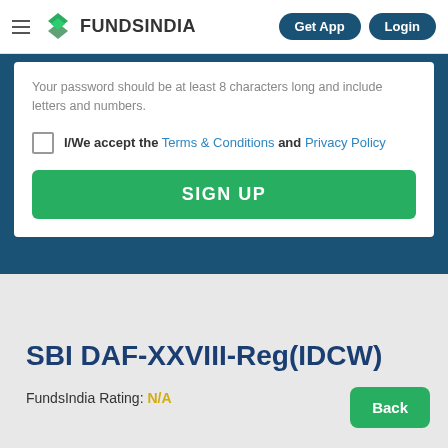FUNDSINDIA  Get App  Login
Your password should be at least 8 characters long and include letters and numbers.
I/We accept the Terms & Conditions and Privacy Policy
SIGN UP
SBI DAF-XXVIII-Reg(IDCW)
FundsIndia Rating: N/A